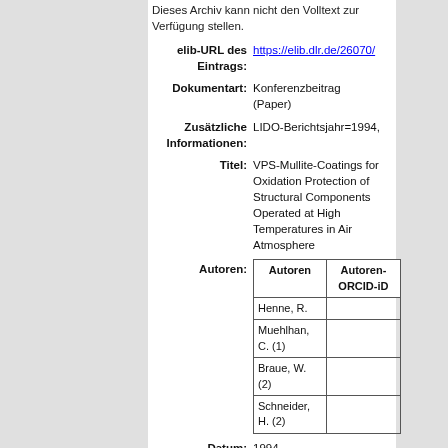Dieses Archiv kann nicht den Volltext zur Verfügung stellen.
| Label | Value |
| --- | --- |
| elib-URL des Eintrags: | https://elib.dlr.de/26070/ |
| Dokumentart: | Konferenzbeitrag (Paper) |
| Zusätzliche Informationen: | LIDO-Berichtsjahr=1994, |
| Titel: | VPS-Mullite-Coatings for Oxidation Protection of Structural Components Operated at High Temperatures in Air Atmosphere |
| Autoren: | Henne, R. / Muehlhan, C. (1) / Braue, W. (2) / Schneider, H. (2) |
| Datum: | 1994 |
| Open Access: | Nein |
| In SCOPUS: | Nein |